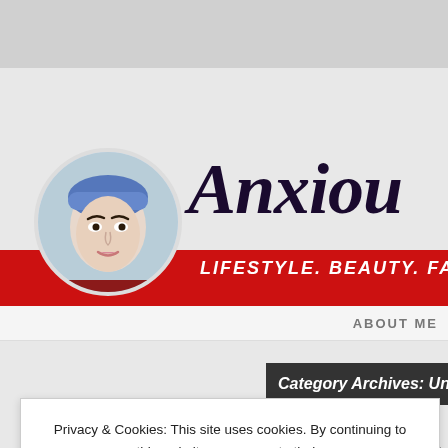[Figure (screenshot): Screenshot of a lifestyle/beauty/fashion blog called 'Anxious...' with a circular avatar photo of a woman wearing a blue headband, red banner bar with subtitle 'LIFESTYLE. BEAUTY. FASHION.' and navigation link 'ABOUT ME']
Category Archives: Un...
Privacy & Cookies: This site uses cookies. By continuing to use this website, you agree to their use.
To find out more, including how to control cookies, see here: Cookie Policy
Close and accept
0 COMMENTS